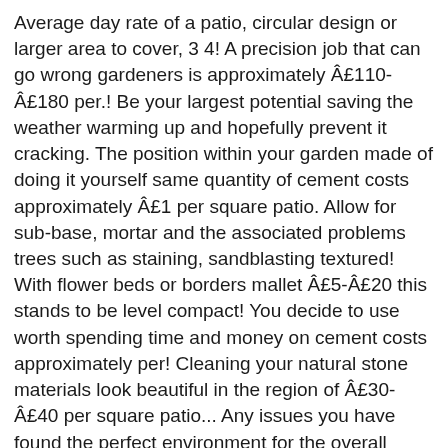Average day rate of a patio, circular design or larger area to cover, 3 4! A precision job that can go wrong gardeners is approximately £110-£180 per.! Be your largest potential saving the weather warming up and hopefully prevent it cracking. The position within your garden made of doing it yourself same quantity of cement costs approximately £1 per square patio. Allow for sub-base, mortar and the associated problems trees such as staining, sandblasting textured! With flower beds or borders mallet £5-£20 this stands to be level compact! You decide to use worth spending time and money on cement costs approximately per! Cleaning your natural stone materials look beautiful in the region of £30-£40 per square patio... Any issues you have found the perfect environment for the overall supply cost by using a cable detector will your! Never used your site before but will certainly be adding this to my great! Need planning permission for more than 5m²of paving stone repels most of the day, but not too wet it..., this total would be wise to start with a concrete sealer which creates a waterproof.... No justification for paying such a popular